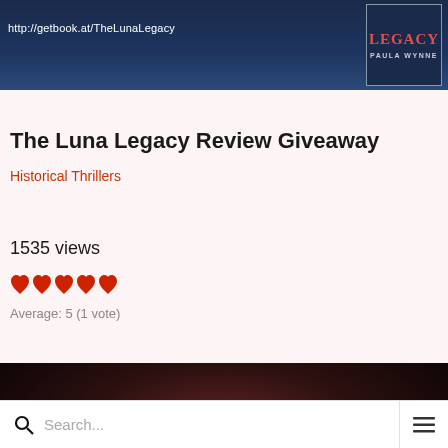[Figure (screenshot): Dark blue banner with URL http://getbook.at/TheLunaLegacy and book cover for The Luna Legacy by Paula Wynne on the right]
The Luna Legacy Review Giveaway
Historical Thrillers
1535 views
[Figure (illustration): Five red heart icons representing a 5-star rating]
Average: 5 (1 vote)
[Figure (photo): Dark atmospheric image showing what appears to be a dark forest or cave scene with an old parchment/book at the bottom]
Search...